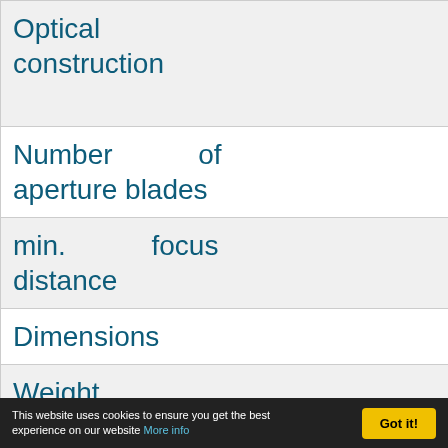| Property | Value |
| --- | --- |
| Optical construction | 19 elements, 2x XR (Extr… |
| Number of aperture blades | 7 (rounded) |
| min. focus distance | 0.29 m (ma… |
| Dimensions | 80 x 95 mm |
| Weight | 570 g |
| Filter size | 72… |
This website uses cookies to ensure you get the best experience on our website More info   Got it!